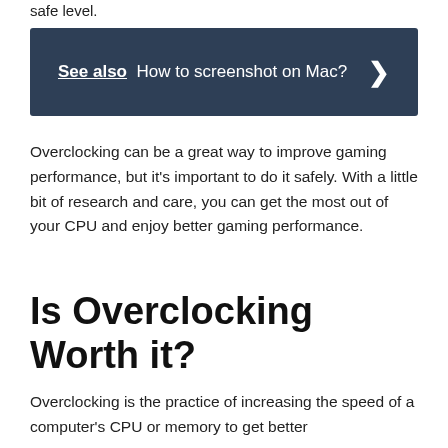safe level.
[Figure (infographic): Dark blue banner with 'See also  How to screenshot on Mac?' text and a right-arrow chevron]
Overclocking can be a great way to improve gaming performance, but it’s important to do it safely. With a little bit of research and care, you can get the most out of your CPU and enjoy better gaming performance.
Is Overclocking Worth it?
Overclocking is the practice of increasing the speed of a computer’s CPU or memory to get better